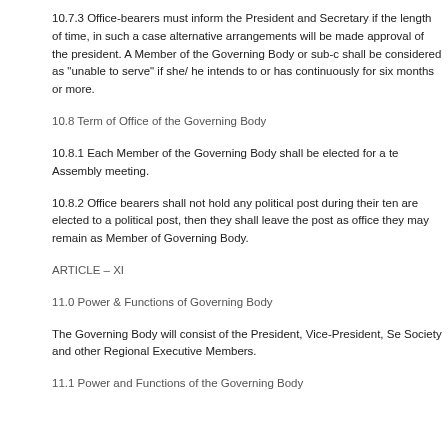10.7.3 Office-bearers must inform the President and Secretary if the length of time, in such a case alternative arrangements will be made approval of the president. A Member of the Governing Body or sub-c shall be considered as "unable to serve" if she/ he intends to or has continuously for six months or more.
10.8 Term of Office of the Governing Body
10.8.1 Each Member of the Governing Body shall be elected for a te Assembly meeting.
10.8.2 Office bearers shall not hold any political post during their ten are elected to a political post, then they shall leave the post as office they may remain as Member of Governing Body.
ARTICLE – XI
11.0 Power & Functions of Governing Body
The Governing Body will consist of the President, Vice-President, Se Society and other Regional Executive Members.
11.1 Power and Functions of the Governing Body